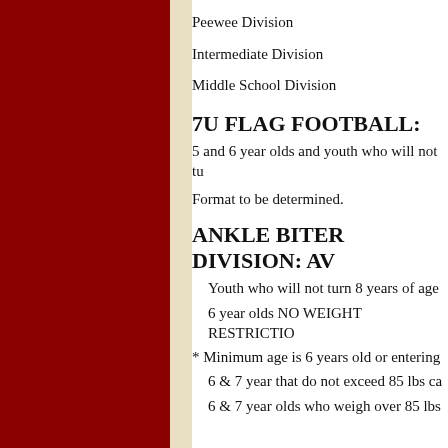Peewee Division
Intermediate Division
Middle School Division
7U FLAG FOOTBALL:
5 and 6 year olds and youth who will not tu
Format to be determined.
ANKLE BITER DIVISION: AV
Youth who will not turn 8 years of age
6 year olds NO WEIGHT RESTRICTIO
* Minimum age is 6 years old or entering
6 & 7 year that do not exceed 85 lbs ca
6 & 7 year olds who weigh over 85 lbs